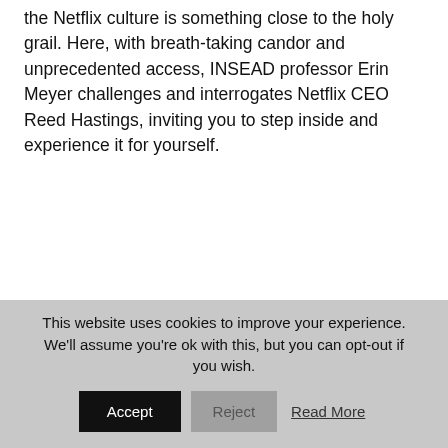the Netflix culture is something close to the holy grail. Here, with breath-taking candor and unprecedented access, INSEAD professor Erin Meyer challenges and interrogates Netflix CEO Reed Hastings, inviting you to step inside and experience it for yourself.
This website uses cookies to improve your experience. We'll assume you're ok with this, but you can opt-out if you wish.